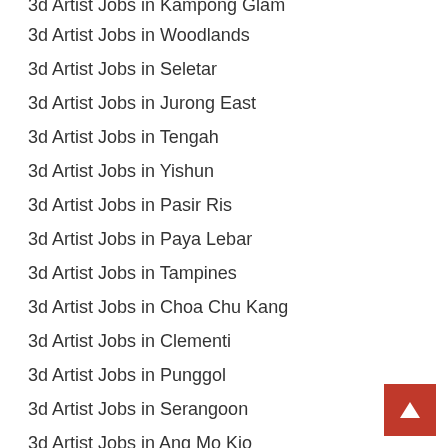3d Artist Jobs in Kampong Glam
3d Artist Jobs in Woodlands
3d Artist Jobs in Seletar
3d Artist Jobs in Jurong East
3d Artist Jobs in Tengah
3d Artist Jobs in Yishun
3d Artist Jobs in Pasir Ris
3d Artist Jobs in Paya Lebar
3d Artist Jobs in Tampines
3d Artist Jobs in Choa Chu Kang
3d Artist Jobs in Clementi
3d Artist Jobs in Punggol
3d Artist Jobs in Serangoon
3d Artist Jobs in Ang Mo Kio
3d Artist Jobs in Bukit Batok
3d Artist Jobs in Novena